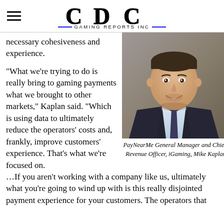CDC Gaming Reports Inc
necessary cohesiveness and experience.
“What we’re trying to do is really bring to gaming payments what we brought to other markets,” Kaplan said. “Which is using data to ultimately reduce the operators’ costs and, frankly, improve customers’ experience. That’s what we’re focused on. …If you aren’t working with a company like us, ultimately what you’re going to wind up with is this really disjointed payment experience for your customers. The operators that
[Figure (photo): Professional headshot of PayNearMe General Manager and Chief Revenue Officer iGaming, Mike Kaplan, a man in a dark suit and light blue shirt, smiling]
PayNearMe General Manager and Chief Revenue Officer, iGaming, Mike Kaplan